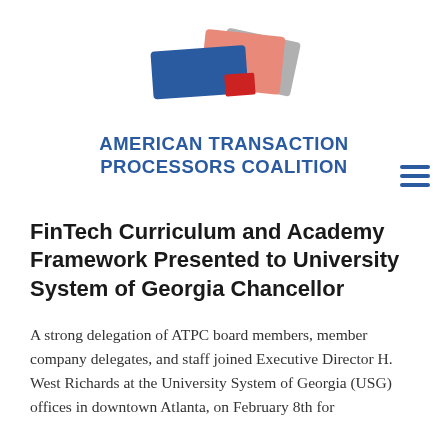[Figure (logo): American Transaction Processors Coalition logo — overlapping colored card shapes (blue, salmon/pink, red, gray) arranged in a fan pattern above the organization name text]
AMERICAN TRANSACTION PROCESSORS COALITION
FinTech Curriculum and Academy Framework Presented to University System of Georgia Chancellor
A strong delegation of ATPC board members, member company delegates, and staff joined Executive Director H. West Richards at the University System of Georgia (USG) offices in downtown Atlanta, on February 8th for